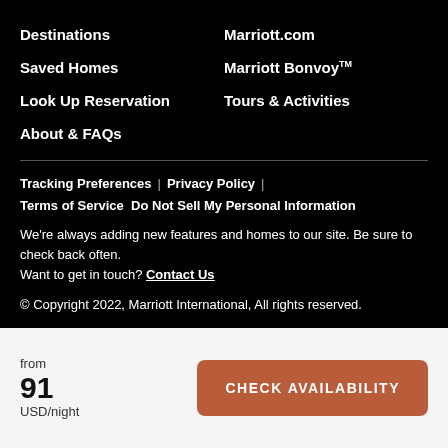Destinations
Marriott.com
Saved Homes
Marriott BonvoyTM
Look Up Reservation
Tours & Activities
About & FAQs
Tracking Preferences  |  Privacy Policy  |  Terms of Service  Do Not Sell My Personal Information
We're always adding new features and homes to our site. Be sure to check back often. Want to get in touch? Contact Us
© Copyright 2022, Marriott International, All rights reserved.
from
91
USD/night
CHECK AVAILABILITY